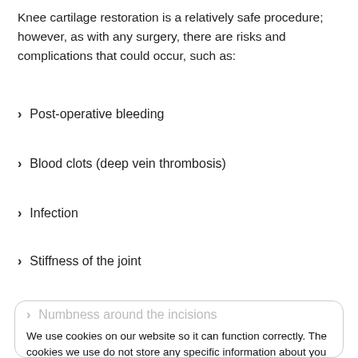Knee cartilage restoration is a relatively safe procedure; however, as with any surgery, there are risks and complications that could occur, such as:
Post-operative bleeding
Blood clots (deep vein thrombosis)
Infection
Stiffness of the joint
Numbness around the incisions
We use cookies on our website so it can function correctly. The cookies we use do not store any specific information about you personally and they won't harm your computer. See our privacy policy for more information.
Allergic response
Failure of the graft
Loosening of the graft